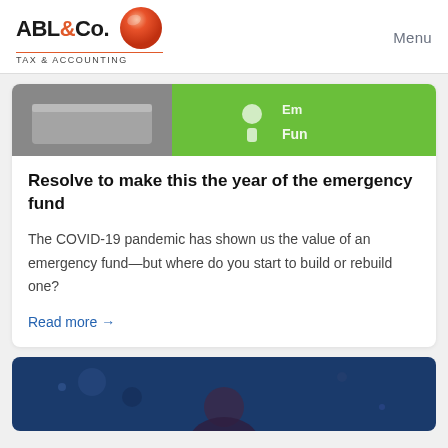ABL&Co. TAX & ACCOUNTING | Menu
[Figure (photo): Close-up photo of green emergency fund card/button with text 'Emergency Fund']
Resolve to make this the year of the emergency fund
The COVID-19 pandemic has shown us the value of an emergency fund—but where do you start to build or rebuild one?
Read more →
[Figure (photo): Dark blue background photo showing a person, partially visible]